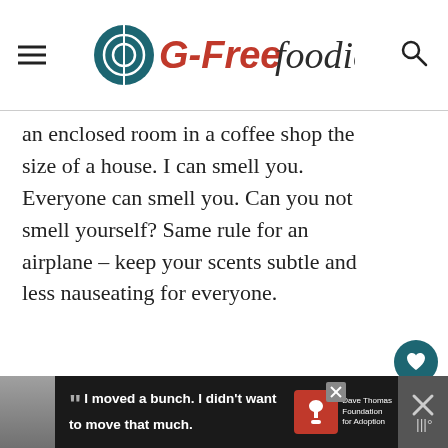G-Free Foodie
an enclosed room in a coffee shop the size of a house. I can smell you. Everyone can smell you. Can you not smell yourself? Same rule for an airplane – keep your scents subtle and less nauseating for everyone.
[Figure (screenshot): Advertisement banner: Dave Thomas Foundation for Adoption ad with a quote 'I moved a bunch. I didn't want to move that much.']